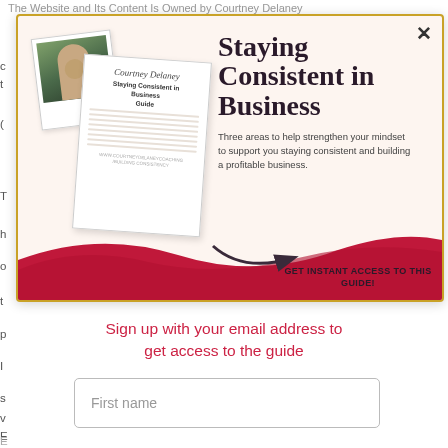The Website and Its Content Is Owned by Courtney Delaney
[Figure (infographic): Modal popup for 'Staying Consistent in Business' guide by Courtney Delaney. Features book/guide mockup images on the left, title text on the right, red wave design at bottom, and a 'GET INSTANT ACCESS TO THIS GUIDE!' call-to-action button.]
Sign up with your email address to get access to the guide
First name